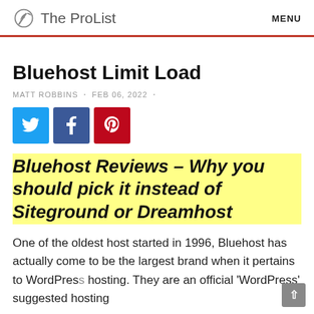The ProList  MENU
Bluehost Limit Load
MATT ROBBINS  •  FEB 06, 2022  •
[Figure (infographic): Social share buttons: Twitter (blue), Facebook (dark blue), Pinterest (red)]
Bluehost Reviews – Why you should pick it instead of Siteground or Dreamhost
One of the oldest host started in 1996, Bluehost has actually come to be the largest brand when it pertains to WordPress hosting. They are an official 'WordPress' suggested hosting